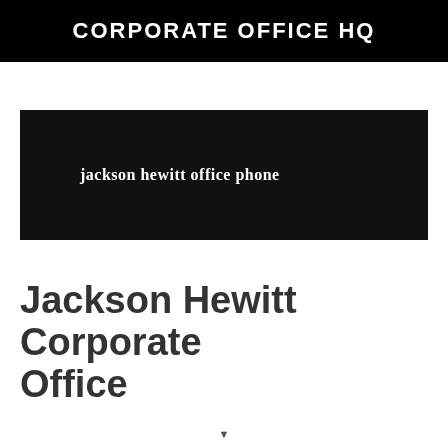CORPORATE OFFICE HQ
[Figure (other): Black banner with search query text 'jackson hewitt office phone']
Jackson Hewitt Corporate Office